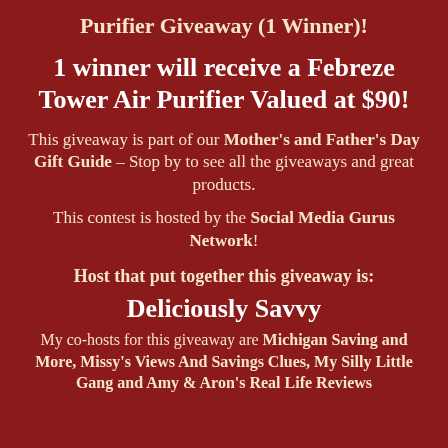Purifier Giveaway (1 Winner)!
1 winner will receive a Febreze Tower Air Purifier Valued at $90!
This giveaway is part of our Mother's and Father's Day Gift Guide – Stop by to see all the giveaways and great products.
This contest is hosted by the Social Media Gurus Network!
Host that put together this giveaway is:
Deliciously Savvy
My co-hosts for this giveaway are Michigan Saving and More, Missy's Views And Savings Clues, My Silly Little Gang and Amy & Aron's Real Life Reviews